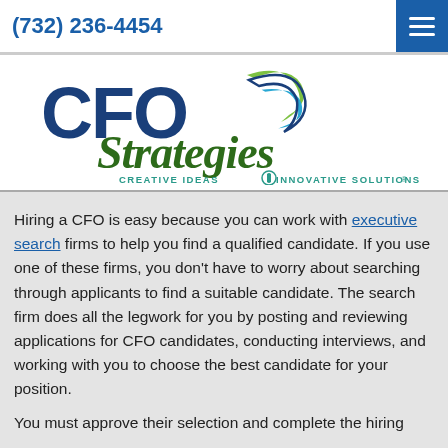(732) 236-4454
[Figure (logo): CFO Strategies logo with two swooping arrows (blue and green), italic green 'Strategies' text, and tagline 'CREATIVE IDEAS | INNOVATIVE SOLUTIONS®' in teal uppercase letters]
Hiring a CFO is easy because you can work with executive search firms to help you find a qualified candidate. If you use one of these firms, you don't have to worry about searching through applicants to find a suitable candidate. The search firm does all the legwork for you by posting and reviewing applications for CFO candidates, conducting interviews, and working with you to choose the best candidate for your position.
You must approve their selection and complete the hiring...